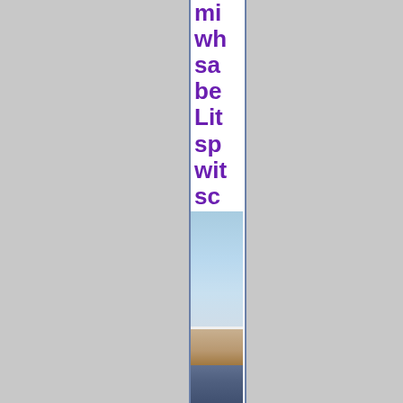mi wh sa be Lit sp wit sc like thi
[Figure (photo): A narrow cropped photograph of a beach scene showing sky, horizon, sand and water/ocean]